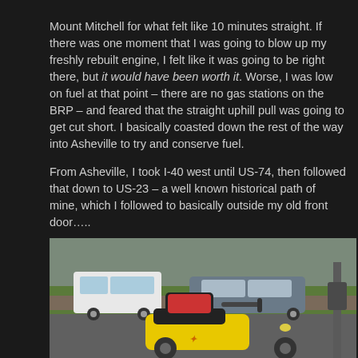Mount Mitchell for what felt like 10 minutes straight. If there was one moment that I was going to blow up my freshly rebuilt engine, I felt like it was going to be right there, but it would have been worth it. Worse, I was low on fuel at that point – there are no gas stations on the BRP – and feared that the straight uphill pull was going to get cut short. I basically coasted down the rest of the way into Asheville to try and conserve fuel.

From Asheville, I took I-40 west until US-74, then followed that down to US-23 – a well known historical path of mine, which I followed to basically outside my old front door…..
[Figure (photo): A yellow scooter/moped parked in the foreground on a street, with a white van and a gray sedan visible in the background, along with green grass and buildings. Street scene, likely in a town or city.]